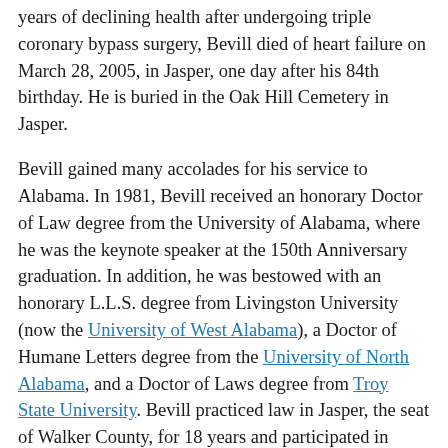years of declining health after undergoing triple coronary bypass surgery, Bevill died of heart failure on March 28, 2005, in Jasper, one day after his 84th birthday. He is buried in the Oak Hill Cemetery in Jasper.
Bevill gained many accolades for his service to Alabama. In 1981, Bevill received an honorary Doctor of Law degree from the University of Alabama, where he was the keynote speaker at the 150th Anniversary graduation. In addition, he was bestowed with an honorary L.L.S. degree from Livingston University (now the University of West Alabama), a Doctor of Humane Letters degree from the University of North Alabama, and a Doctor of Laws degree from Troy State University. Bevill practiced law in Jasper, the seat of Walker County, for 18 years and participated in civic, educational, and religious organizations. He was inducted into the Alabama Academy of Honor in 1986, and in 1990 the University of Alabama honored him with the Tom Bevill Energy, Mineral, and Materials Science Research Building, which is dedicated solely to research. The University of Alabama School of Law created the Tom Bevill Chair of L... In 2002 the era in duction into the Alabama Media Hall of